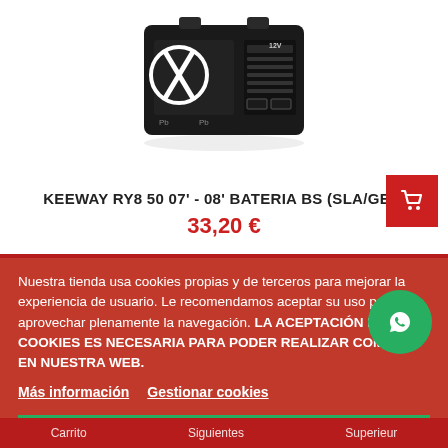[Figure (photo): Black battery product photo - KEEWAY RY8 50 battery (SLA/GEL) shown from top/front angle against white background]
KEEWAY RY8 50 07' - 08' BATERIA BS (SLA/GEL)
33,20 €
Nuestra tienda usa cookies propias y de terceros para mejorar la experiencia de usuario. Le recomendamos aceptar su uso para aprovechar plenamente la navegación. LA ACEPTACIÓN DE COOKIES ES NECESARIA PARA PODER REALIZAR COMPRAS EN NUESTRA WEB.
Más información
Gestionar cookies
ACEPTO
Carrito   Siguientes   Superieur